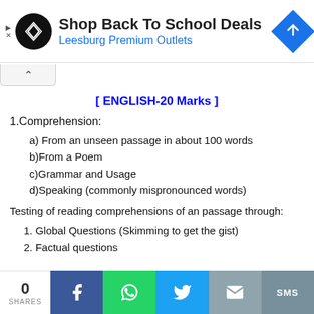[Figure (infographic): Advertisement banner: Shop Back To School Deals - Leesburg Premium Outlets with logo and navigation arrow]
[ ENGLISH-20 Marks ]
1.Comprehension:
a) From an unseen passage in about 100 words
b)From a Poem
c)Grammar and Usage
d)Speaking (commonly mispronounced words)
Testing of reading comprehensions of an passage through:
1. Global Questions (Skimming to get the gist)
2. Factual questions
[Figure (infographic): Social media share bar with Facebook, WhatsApp, Twitter, Email, and SMS buttons showing 0 shares]